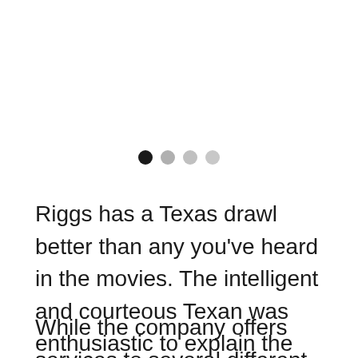[Figure (other): Four pagination dots: first dot is filled black, remaining three are progressively lighter gray]
Riggs has a Texas drawl better than any you've heard in the movies. The intelligent and courteous Texan was enthusiastic to explain the industry and Future Telecom's services when I admitted I wasn't an expert in either.
While the company offers services to several different industries, it's a telecom